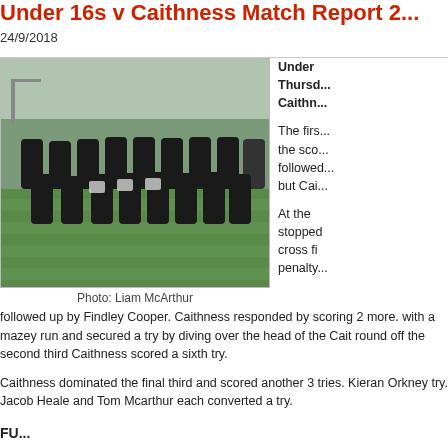Under 16s v Caithness Match Report 2...
24/9/2018
[Figure (photo): Team photo of Under 16s rugby players in black and red kit on a grass pitch, with a coach in a dark jacket on the right.]
Photo: Liam McArthur
Under ... Thursday ... Caithn...
The firs... the sco... followed... but Cai...
At the stoppe cross fi penalty followed up by Findley Cooper. Caithness responded by scoring 2 more. with a mazey run and secured a try by diving over the head of the Cait round off the second third Caithness scored a sixth try.
Caithness dominated the final third and scored another 3 tries. Kieran Orkney try. Jacob Heale and Tom Mcarthur each converted a try.
FU...